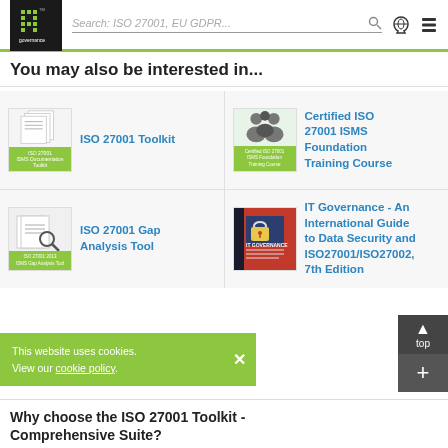Search: ISO 27001, EU GDPR...
You may also be interested in...
ISO 27001 Toolkit
Certified ISO 27001 ISMS Foundation Training Course
ISO 27001 Gap Analysis Tool
IT Governance - An International Guide to Data Security and ISO27001/ISO27002, 7th Edition
This website uses cookies. View our cookie policy.
Why choose the ISO 27001 Toolkit - Comprehensive Suite?